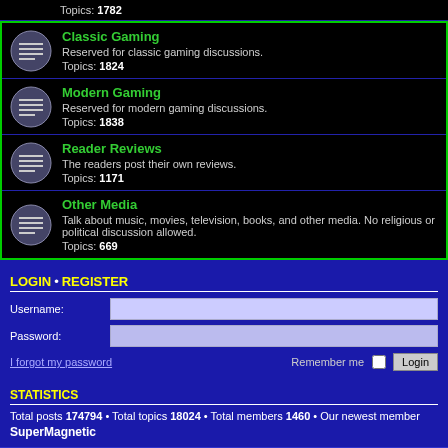Topics: 1782
Classic Gaming
Reserved for classic gaming discussions.
Topics: 1824
Modern Gaming
Reserved for modern gaming discussions.
Topics: 1838
Reader Reviews
The readers post their own reviews.
Topics: 1171
Other Media
Talk about music, movies, television, books, and other media. No religious or political discussion allowed.
Topics: 669
LOGIN • REGISTER
Username:
Password:
I forgot my password
Remember me
STATISTICS
Total posts 174794 • Total topics 18024 • Total members 1460 • Our newest member SuperMagnetic
Main Page • Board index
Contact us   The team
Powered by phpBB® Forum Software © phpBB Limited